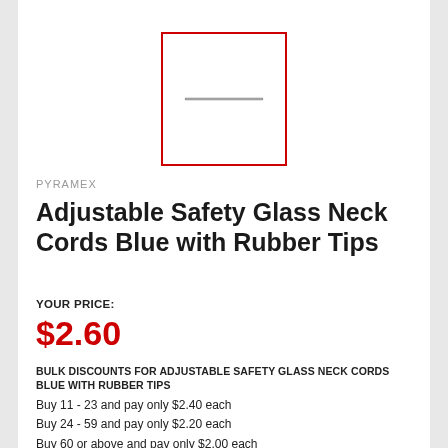[Figure (photo): Product image placeholder: a thin horizontal cord/lanyard shown centered in a red-bordered white box]
PYRAMEX
Adjustable Safety Glass Neck Cords Blue with Rubber Tips
YOUR PRICE:
$2.60
BULK DISCOUNTS FOR ADJUSTABLE SAFETY GLASS NECK CORDS BLUE WITH RUBBER TIPS
Buy 11 - 23 and pay only $2.40 each
Buy 24 - 59 and pay only $2.20 each
Buy 60 or above and pay only $2.00 each